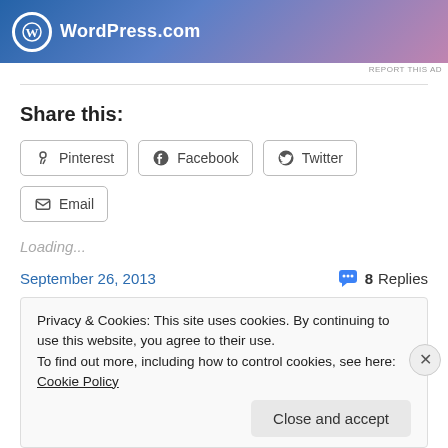[Figure (logo): WordPress.com banner ad with gradient blue-to-pink background, WordPress circle logo and wordmark in white]
REPORT THIS AD
Share this:
Pinterest  Facebook  Twitter  Email
Loading...
September 26, 2013
8 Replies
Privacy & Cookies: This site uses cookies. By continuing to use this website, you agree to their use.
To find out more, including how to control cookies, see here: Cookie Policy
Close and accept